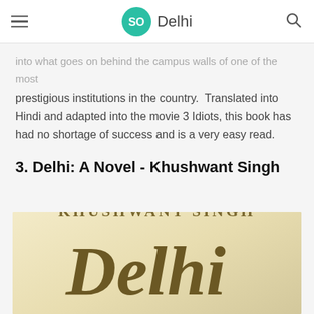SO Delhi
into what goes on behind the campus walls of one of the most prestigious institutions in the country.  Translated into Hindi and adapted into the movie 3 Idiots, this book has had no shortage of success and is a very easy read.
3. Delhi: A Novel - Khushwant Singh
[Figure (photo): Book cover of 'Delhi: A Novel' by Khushwant Singh, showing the author name in uppercase serif text at the top and the title 'Delhi' in large olive-gold italic handwriting script on a parchment-colored background, with 'a novel' text partially visible at the bottom right.]